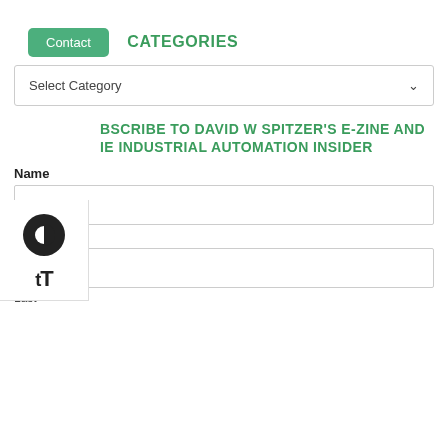Contact
CATEGORIES
Select Category
SUBSCRIBE TO DAVID W SPITZER'S E-ZINE AND THE INDUSTRIAL AUTOMATION INSIDER
Name
First
Last